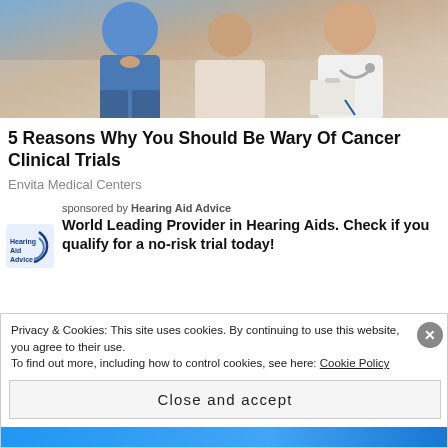[Figure (photo): Photo of a patient and doctor, appearing to be a medical consultation scene with a person in a blue shirt and a doctor in a white coat with a stethoscope]
5 Reasons Why You Should Be Wary Of Cancer Clinical Trials
Envita Medical Centers
sponsored by Hearing Aid Advice
World Leading Provider in Hearing Aids. Check if you qualify for a no-risk trial today!
Privacy & Cookies: This site uses cookies. By continuing to use this website, you agree to their use.
To find out more, including how to control cookies, see here: Cookie Policy
Close and accept